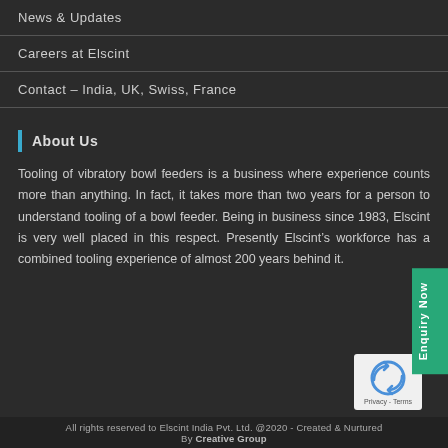News & Updates
Careers at Elscint
Contact – India, UK, Swiss, France
About Us
Tooling of vibratory bowl feeders is a business where experience counts more than anything. In fact, it takes more than two years for a person to understand tooling of a bowl feeder. Being in business since 1983, Elscint is very well placed in this respect. Presently Elscint’s workforce has a combined tooling experience of almost 200 years behind it.
All rights reserved to Elscint India Pvt. Ltd. @2020 - Created & Nurtured By Creative Group